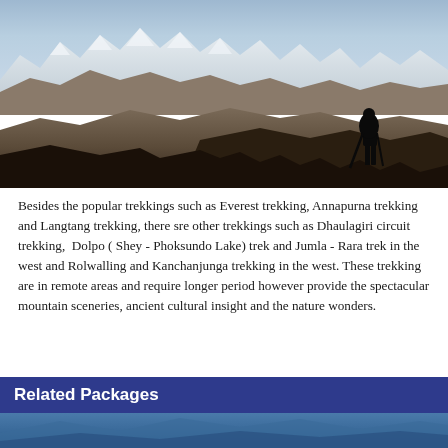[Figure (photo): A silhouette of a hiker with a trekking pole standing on a rocky ridge, overlooking a vast mountain landscape with snow-capped peaks in the background. Brown and grey rocky terrain in the foreground.]
Besides the popular trekkings such as Everest trekking, Annapurna trekking and Langtang trekking, there sre other trekkings such as Dhaulagiri circuit trekking, Dolpo ( Shey - Phoksundo Lake) trek and Jumla - Rara trek in the west and Rolwalling and Kanchanjunga trekking in the west. These trekking are in remote areas and require longer period however provide the spectacular mountain sceneries, ancient cultural insight and the nature wonders.
Related Packages
[Figure (photo): Partial view of a mountain/sky scene, cropped at bottom of page.]